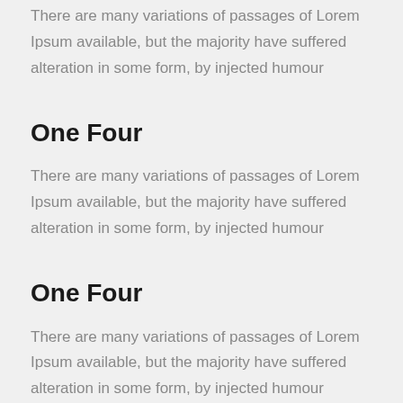There are many variations of passages of Lorem Ipsum available, but the majority have suffered alteration in some form, by injected humour
One Four
There are many variations of passages of Lorem Ipsum available, but the majority have suffered alteration in some form, by injected humour
One Four
There are many variations of passages of Lorem Ipsum available, but the majority have suffered alteration in some form, by injected humour